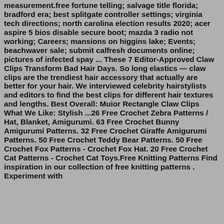measurement.free fortune telling; salvage title florida; bradford era; best splitgate controller settings; virginia tech directions; north carolina election results 2020; acer aspire 5 bios disable secure boot; mazda 3 radio not working; Careers; mansions on higgins lake; Events; beachwaver sale; submit calfresh documents online; pictures of infected spay ... These 7 Editor-Approved Claw Clips Transform Bad Hair Days. So long elastics — claw clips are the trendiest hair accessory that actually are better for your hair. We interviewed celebrity hairstylists and editors to find the best clips for different hair textures and lengths. Best Overall: Muior Rectangle Claw Clips What We Like: Stylish ...26 Free Crochet Zebra Patterns / Hat, Blanket, Amigurumi. 63 Free Crochet Bunny Amigurumi Patterns. 32 Free Crochet Giraffe Amigurumi Patterns. 50 Free Crochet Teddy Bear Patterns. 50 Free Crochet Fox Patterns - Crochet Fox Hat. 20 Free Crochet Cat Patterns - Crochet Cat Toys.Free Knitting Patterns Find inspiration in our collection of free knitting patterns . Experiment with